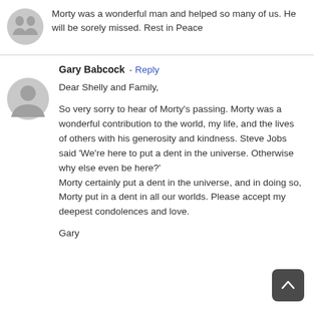Morty was a wonderful man and helped so many of us. He will be sorely missed. Rest in Peace
Gary Babcock - Reply

Dear Shelly and Family,

So very sorry to hear of Morty's passing. Morty was a wonderful contribution to the world, my life, and the lives of others with his generosity and kindness. Steve Jobs said 'We're here to put a dent in the universe. Otherwise why else even be here?'
Morty certainly put a dent in the universe, and in doing so, Morty put in a dent in all our worlds. Please accept my deepest condolences and love.

Gary